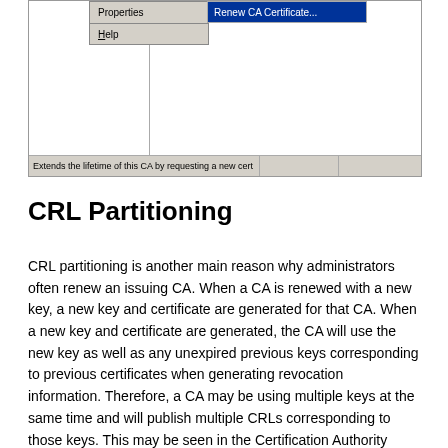[Figure (screenshot): Windows GUI screenshot showing a context menu with 'Properties' and 'Help' items, and a submenu showing 'Renew CA Certificate...' highlighted in blue. A status bar at the bottom reads 'Extends the lifetime of this CA by requesting a new cert'.]
CRL Partitioning
CRL partitioning is another main reason why administrators often renew an issuing CA. When a CA is renewed with a new key, a new key and certificate are generated for that CA. When a new key and certificate are generated, the CA will use the new key as well as any unexpired previous keys corresponding to previous certificates when generating revocation information. Therefore, a CA may be using multiple keys at the same time and will publish multiple CRLs corresponding to those keys. This may be seen in the Certification Authority MMC snap-in by selecting the CA properties.